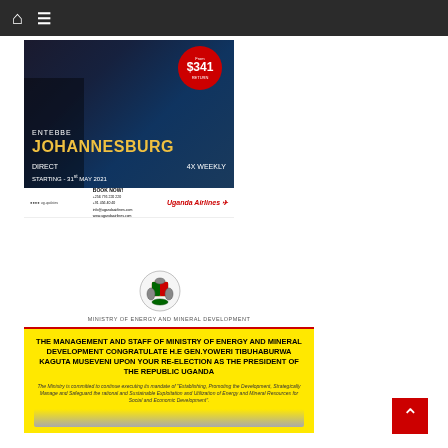Navigation bar with home icon and menu icon
[Figure (advertisement): Uganda Airlines advertisement: Entebbe to Johannesburg Direct 4X Weekly, Starting 31st May 2021, From $341 Return. Book Now! Uganda Airlines logo.]
[Figure (logo): Uganda coat of arms / Ministry of Energy and Mineral Development seal]
MINISTRY OF ENERGY AND MINERAL DEVELOPMENT
THE MANAGEMENT AND STAFF OF MINISTRY OF ENERGY AND MINERAL DEVELOPMENT CONGRATULATE H.E GEN.YOWERI TIBUHABURWA KAGUTA MUSEVENI UPON YOUR RE-ELECTION AS THE PRESIDENT OF THE REPUBLIC UGANDA
The Ministry is committed to continue executing its mandate of "Establishing, Promoting the Development, Strategically Manage and Safeguard the rational and Sustainable Exploitation and Utilization of Energy and Mineral Resources for Social and Economic Development".